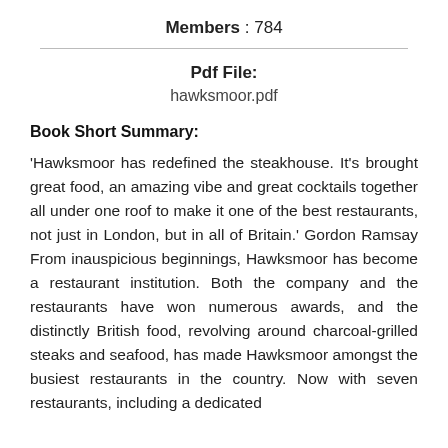Members : 784
Pdf File: hawksmoor.pdf
Book Short Summary:
‘Hawksmoor has redefined the steakhouse. It’s brought great food, an amazing vibe and great cocktails together all under one roof to make it one of the best restaurants, not just in London, but in all of Britain.’ Gordon Ramsay From inauspicious beginnings, Hawksmoor has become a restaurant institution. Both the company and the restaurants have won numerous awards, and the distinctly British food, revolving around charcoal-grilled steaks and seafood, has made Hawksmoor amongst the busiest restaurants in the country. Now with seven restaurants, including a dedicated